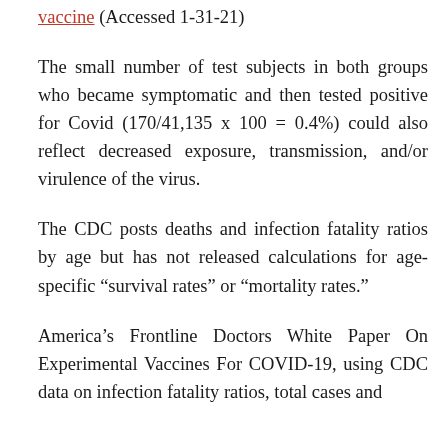vaccine (Accessed 1-31-21)
The small number of test subjects in both groups who became symptomatic and then tested positive for Covid (170/41,135 x 100 = 0.4%) could also reflect decreased exposure, transmission, and/or virulence of the virus.
The CDC posts deaths and infection fatality ratios by age but has not released calculations for age-specific “survival rates” or “mortality rates.”
America’s Frontline Doctors White Paper On Experimental Vaccines For COVID-19, using CDC data on infection fatality ratios, total cases and